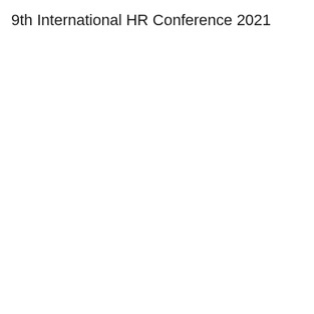9th International HR Conference 2021